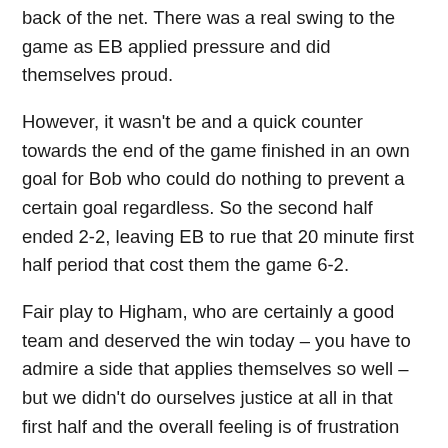back of the net. There was a real swing to the game as EB applied pressure and did themselves proud.
However, it wasn't be and a quick counter towards the end of the game finished in an own goal for Bob who could do nothing to prevent a certain goal regardless. So the second half ended 2-2, leaving EB to rue that 20 minute first half period that cost them the game 6-2.
Fair play to Higham, who are certainly a good team and deserved the win today – you have to admire a side that applies themselves so well – but we didn't do ourselves justice at all in that first half and the overall feeling is of frustration with a real opportunity to do something in this cup gone for this year.
To take the positives out of the game – Jack and Joe made a real impact either could have been MoM and the second